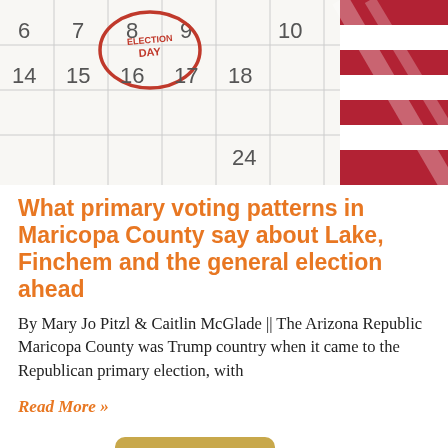[Figure (photo): A calendar with day 8 circled in red ink labeled 'ELECTION DAY', with an American flag visible in the upper right corner.]
What primary voting patterns in Maricopa County say about Lake, Finchem and the general election ahead
By Mary Jo Pitzl & Caitlin McGlade || The Arizona Republic Maricopa County was Trump country when it came to the Republican primary election, with
Read More »
[Figure (photo): A money bag with a green dollar sign wearing a patriotic straw hat with red, white, and blue band, with scattered dollar bills in the lower right.]